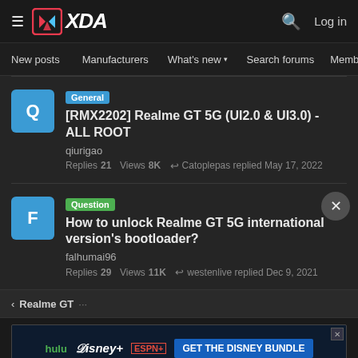XDA Forums — hamburger menu, logo, search, Log in
New posts  Manufacturers  What's new ▾  Search forums  Membe  >
[RMX2202] Realme GT 5G (UI2.0 & UI3.0) - ALL ROOT
qiurigao
Replies 21 Views 8K  Catoplepas replied May 17, 2022
How to unlock Realme GT 5G international version's bootloader?
falhumai96
Replies 29 Views 11K  westenlive replied Dec 9, 2021
< Realme GT
[Figure (screenshot): Disney Bundle advertisement banner showing Hulu, Disney+, ESPN+ logos and 'GET THE DISNEY BUNDLE' call to action]